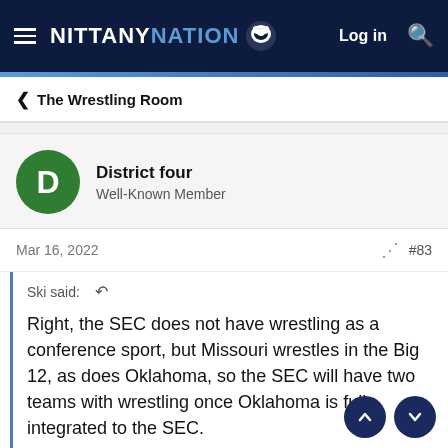NITTANY NATION — Log in
< The Wrestling Room
District four
Well-Known Member
Mar 16, 2022   #83
Ski said:
Right, the SEC does not have wrestling as a conference sport, but Missouri wrestles in the Big 12, as does Oklahoma, so the SEC will have two teams with wrestling once Oklahoma is fully integrated to the SEC.